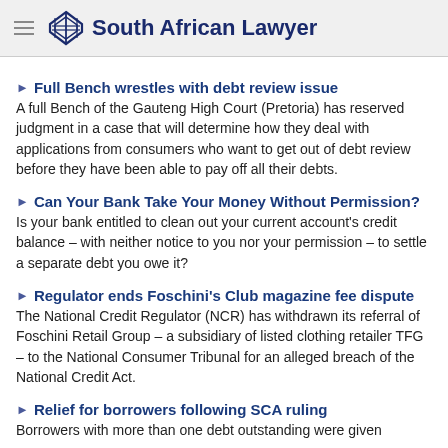South African Lawyer
Full Bench wrestles with debt review issue
A full Bench of the Gauteng High Court (Pretoria) has reserved judgment in a case that will determine how they deal with applications from consumers who want to get out of debt review before they have been able to pay off all their debts.
Can Your Bank Take Your Money Without Permission?
Is your bank entitled to clean out your current account's credit balance – with neither notice to you nor your permission – to settle a separate debt you owe it?
Regulator ends Foschini's Club magazine fee dispute
The National Credit Regulator (NCR) has withdrawn its referral of Foschini Retail Group – a subsidiary of listed clothing retailer TFG – to the National Consumer Tribunal for an alleged breach of the National Credit Act.
Relief for borrowers following SCA ruling
Borrowers with more than one debt outstanding were given